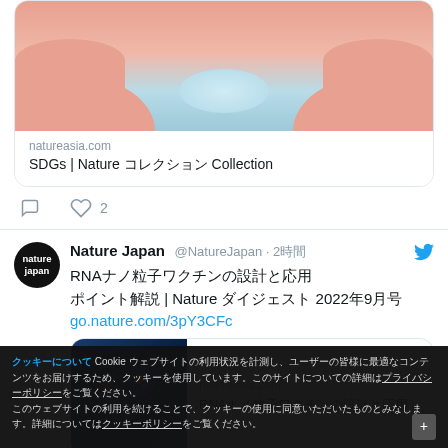[Figure (screenshot): Partial tweet card showing link preview with hands illustration, natureasia.com domain, title 'SDGs | Nature コレクション Collection', and action icons with 2 likes]
natureasia.com
SDGs | Nature コレクション Collection
♡ 2
Nature Japan @NatureJapan · 2時間
RNAナノ粒子ワクチンの設計と応用 | Nature ダイジェスト 2022年9月号 go.nature.com/3pY3CFc
natureasia.com
RNAナノ粒子ワクチンの設計と応用
クッキーについて Cookie ウェブサイトの利用状況を計測し、ユーザーの皆様に最適なコンテンツをお届けするため、クッキーを使用しています。
このウェブサイトの利用を続けることで、クッキーの使用に同意いただいたものとみなします。